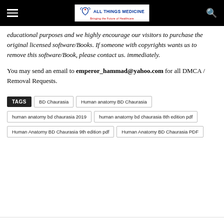All Things Medicine — Bringing the Future of Healthcare
educational purposes and we highly encourage our visitors to purchase the original licensed software/Books. If someone with copyrights wants us to remove this software/Book, please contact us. immediately.
You may send an email to emperor_hammad@yahoo.com for all DMCA / Removal Requests.
TAGS  BD Chaurasia  Human anatomy BD Chaurasia  human anatomy bd chaurasia 2019  human anatomy bd chaurasia 8th edition pdf  Human Anatomy BD Chaurasia 9th edition pdf  Human Anatomy BD Chaurasia PDF